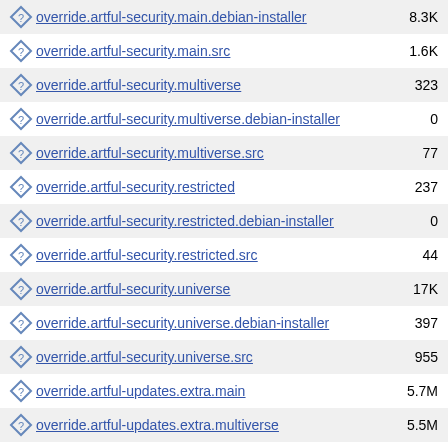override.artful-security.main.debian-installer  8.3K
override.artful-security.main.src  1.6K
override.artful-security.multiverse  323
override.artful-security.multiverse.debian-installer  0
override.artful-security.multiverse.src  77
override.artful-security.restricted  237
override.artful-security.restricted.debian-installer  0
override.artful-security.restricted.src  44
override.artful-security.universe  17K
override.artful-security.universe.debian-installer  397
override.artful-security.universe.src  955
override.artful-updates.extra.main  5.7M
override.artful-updates.extra.multiverse  5.5M